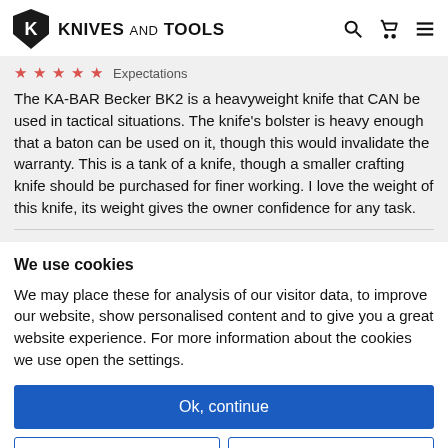KNIVES AND TOOLS
Expectations
The KA-BAR Becker BK2 is a heavyweight knife that CAN be used in tactical situations. The knife's bolster is heavy enough that a baton can be used on it, though this would invalidate the warranty. This is a tank of a knife, though a smaller crafting knife should be purchased for finer working. I love the weight of this knife, its weight gives the owner confidence for any task.
We use cookies
We may place these for analysis of our visitor data, to improve our website, show personalised content and to give you a great website experience. For more information about the cookies we use open the settings.
Ok, continue
Deny
No, adjust